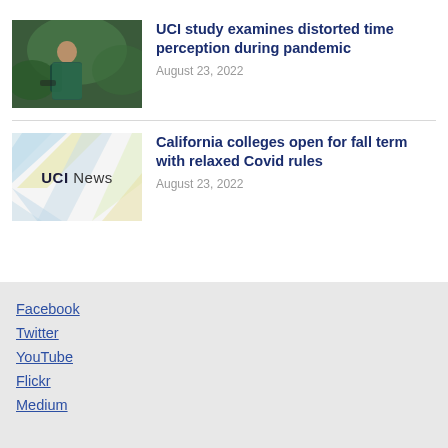[Figure (photo): Person in green jacket standing outdoors with greenery background]
UCI study examines distorted time perception during pandemic
August 23, 2022
[Figure (photo): UCI News logo card with diagonal stripe design in blue and yellow]
California colleges open for fall term with relaxed Covid rules
August 23, 2022
Facebook
Twitter
YouTube
Flickr
Medium